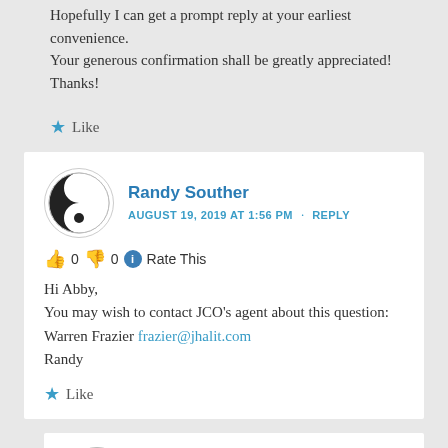Hopefully I can get a prompt reply at your earliest convenience. Your generous confirmation shall be greatly appreciated! Thanks!
★ Like
Randy Souther
AUGUST 19, 2019 AT 1:56 PM · REPLY
👍 0 👎 0 ℹ Rate This
Hi Abby,
You may wish to contact JCO's agent about this question: Warren Frazier frazier@jhalit.com
Randy
★ Like
Abby
AUGUST 19, 2019 AT 5:01 PM
👍 0 👎 0 ℹ Rate This